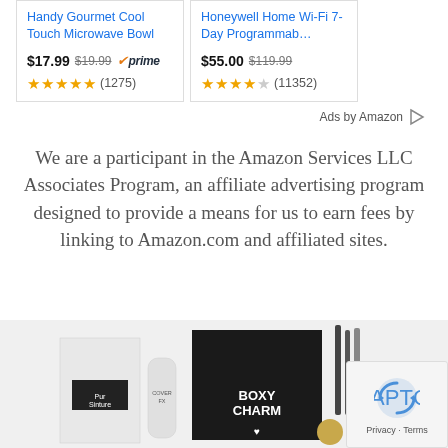[Figure (screenshot): Two Amazon product ad cards side by side. Left card: 'Handy Gourmet Cool Touch Microwave Bowl' priced at $17.99 (was $19.99) with Prime badge and 4.5 star rating (1275 reviews). Right card: 'Honeywell Home Wi-Fi 7-Day Programmab...' priced at $55.00 (was $119.99) with 4.5 star rating (11352 reviews).]
Ads by Amazon
We are a participant in the Amazon Services LLC Associates Program, an affiliate advertising program designed to provide a means for us to earn fees by linking to Amazon.com and affiliated sites.
[Figure (photo): Photo of a BoxyCharm makeup subscription box with various beauty products including a white box labeled 'Pur Sinture', a white tube labeled 'Cover FX', a black box labeled 'BOXY CHARM', makeup brushes, and a lipstick or similar product.]